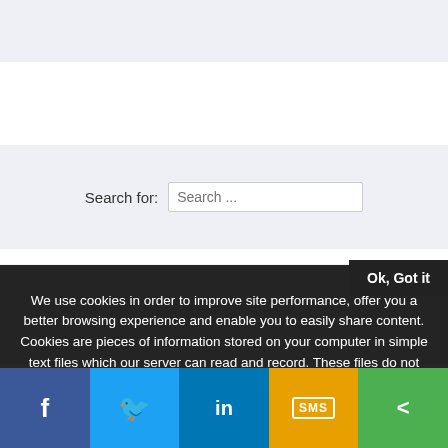[Figure (screenshot): Top grey banner placeholder area]
[Figure (screenshot): Search widget with label 'Search for:' and a text input placeholder 'Search ...']
[Figure (screenshot): Lower grey banner placeholder area]
Ok, Got it
We use cookies in order to improve site performance, offer you a better browsing experience and enable you to easily share content. Cookies are pieces of information stored on your computer in simple text files which our server can read and record. These files do not contain any sensitive information. By continuing to browse our site, you agree to the use of cookies.
[Figure (screenshot): Social share bar with Facebook, Twitter, LinkedIn, SMS, and generic share icons]